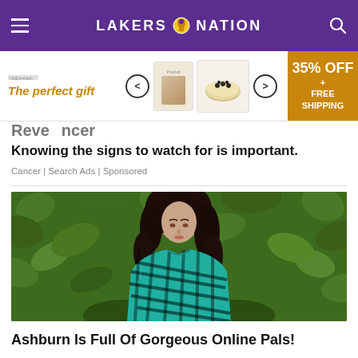LAKERS NATION
[Figure (screenshot): Advertisement banner: The perfect gift with product images, 35% OFF + FREE SHIPPING]
Reve... ncer
Knowing the signs to watch for is important.
Cancer | Search Ads | Sponsored
[Figure (photo): Woman with dark hair wearing a teal/black plaid flannel shirt, photographed against a green leafy background]
Ashburn Is Full Of Gorgeous Online Pals!